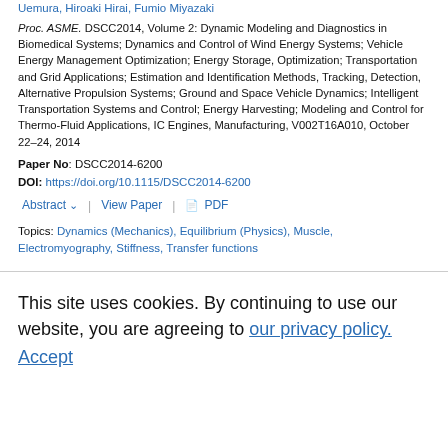Uemura, Hiroaki Hirai, Fumio Miyazaki
Proc. ASME. DSCC2014, Volume 2: Dynamic Modeling and Diagnostics in Biomedical Systems; Dynamics and Control of Wind Energy Systems; Vehicle Energy Management Optimization; Energy Storage, Optimization; Transportation and Grid Applications; Estimation and Identification Methods, Tracking, Detection, Alternative Propulsion Systems; Ground and Space Vehicle Dynamics; Intelligent Transportation Systems and Control; Energy Harvesting; Modeling and Control for Thermo-Fluid Applications, IC Engines, Manufacturing, V002T16A010, October 22–24, 2014
Paper No: DSCC2014-6200
DOI: https://doi.org/10.1115/DSCC2014-6200
Abstract  View Paper  PDF
Topics: Dynamics (Mechanics), Equilibrium (Physics), Muscle, Electromyography, Stiffness, Transfer functions
This site uses cookies. By continuing to use our website, you are agreeing to our privacy policy. Accept